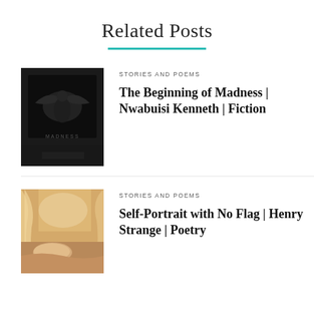Related Posts
STORIES AND POEMS
The Beginning of Madness | Nwabuisi Kenneth | Fiction
[Figure (photo): Dark atmospheric black and white photo of a figure or eagle artwork, very dark/moody background]
STORIES AND POEMS
Self-Portrait with No Flag | Henry Strange | Poetry
[Figure (photo): Warm toned photo of a cozy bedroom with sheer curtains, natural light, pillows on an unmade bed]